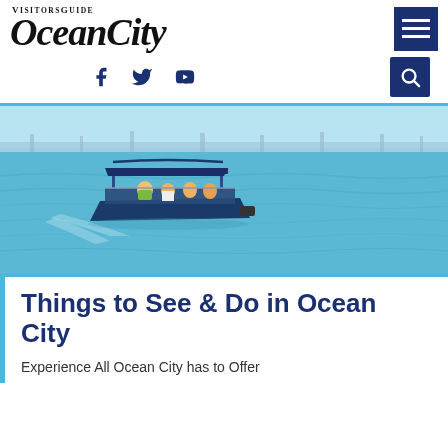Ocean City Visitors Guide
[Figure (photo): A pontoon boat with several passengers cruising on blue water, with a bridge and city skyline visible in the background.]
Things to See & Do in Ocean City
Experience All Ocean City has to Offer